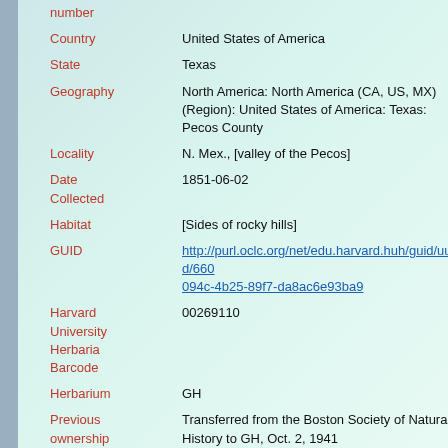| Field | Value |
| --- | --- |
| number |  |
| Country | United States of America |
| State | Texas |
| Geography | North America: North America (CA, US, MX) (Region): United States of America: Texas: Pecos County |
| Locality | N. Mex., [valley of the Pecos] |
| Date Collected | 1851-06-02 |
| Habitat | [Sides of rocky hills] |
| GUID | http://purl.oclc.org/net/edu.harvard.huh/guid/uuid/660094c-4b25-89f7-da8ac6e93ba9 |
| Harvard University Herbaria Barcode | 00269110 |
| Herbarium | GH |
| Previous ownership | Transferred from the Boston Society of Natural History to GH, Oct. 2, 1941 |
| Family | Acanthaceae |
| Determination | Ruellia parryi A. Gray |
| Determined by | F. A. Barkley |
| Date | 1948 |